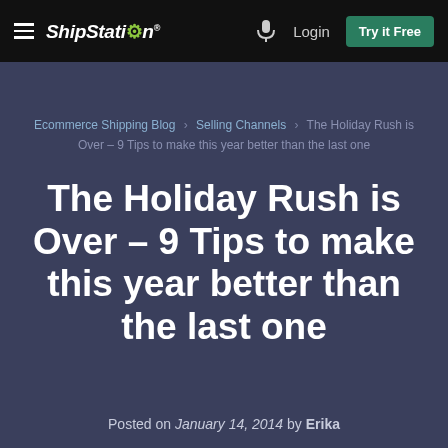ShipStation — Login — Try it Free
Ecommerce Shipping Blog > Selling Channels > The Holiday Rush is Over – 9 Tips to make this year better than the last one
The Holiday Rush is Over – 9 Tips to make this year better than the last one
Posted on January 14, 2014 by Erika